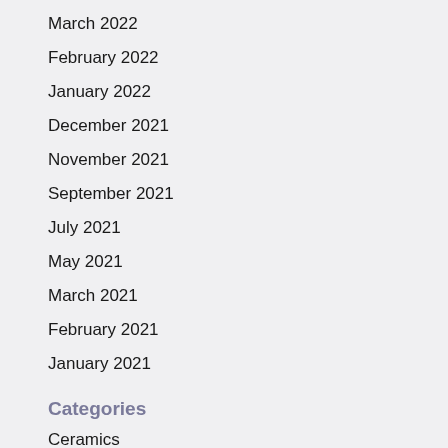March 2022
February 2022
January 2022
December 2021
November 2021
September 2021
July 2021
May 2021
March 2021
February 2021
January 2021
Categories
Ceramics